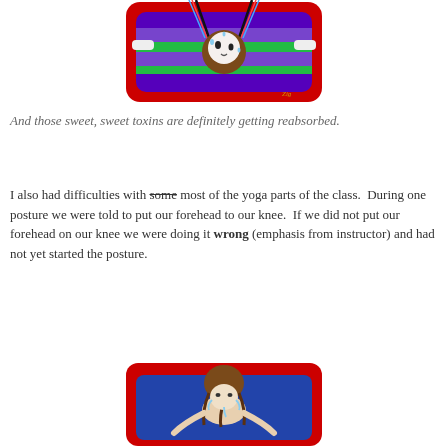[Figure (illustration): Cartoon illustration of a round character hanging upside down on a colorful striped mat/board with red border, purple and green stripes, holding handles, sweating]
And those sweet, sweet toxins are definitely getting reabsorbed.
I also had difficulties with some most of the yoga parts of the class.  During one posture we were told to put our forehead to our knee.  If we did not put our forehead on our knee we were doing it wrong (emphasis from instructor) and had not yet started the posture.
[Figure (illustration): Cartoon illustration of a character bending forward with brown hair, sweating, on a red mat, attempting to put forehead to knee]